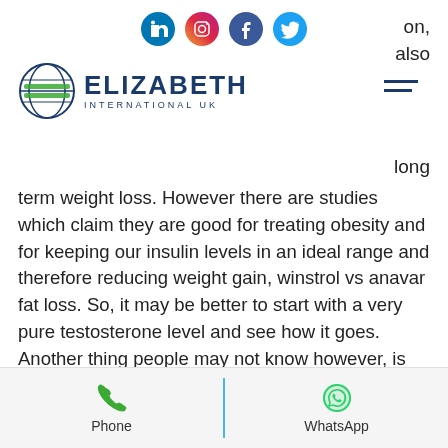Elizabeth International UK — social icons header with logo
long term weight loss. However there are studies which claim they are good for treating obesity and for keeping our insulin levels in an ideal range and therefore reducing weight gain, winstrol vs anavar fat loss. So, it may be better to start with a very pure testosterone level and see how it goes. Another thing people may not know however, is that even when using anabolic steroids for weight loss the body still needs food, winstrol dosage for weight loss. So, even after taking steroids for weight loss it will still be important to get enough food to eat, are peptides good for weight loss. For the first
Phone | WhatsApp